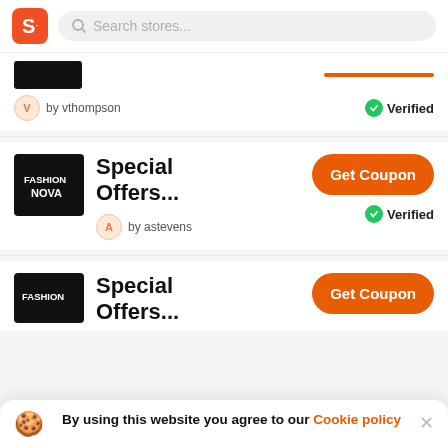[Figure (screenshot): App header with orange S logo and search bar with placeholder 'Search stores...']
by vthompson
Verified
Special Offers...
[Figure (logo): Fashion Nova black logo]
Get Coupon
by astevens
Verified
Special Offers...
[Figure (logo): Fashion Nova partial black logo]
Get Coupon
By using this website you agree to our Cookie policy